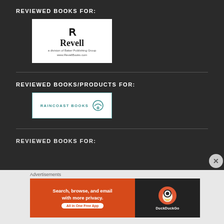REVIEWED BOOKS FOR:
[Figure (logo): Revell publisher logo — stylized R mark above 'Revell' text, with 'a division of Baker Publishing Group' and 'www.RevellBooks.com']
REVIEWED BOOKS/PRODUCTS FOR:
[Figure (logo): Raincoast Books logo — teal text 'RAINCOAST BOOKS' with umbrella icon]
REVIEWED BOOKS FOR:
[Figure (infographic): DuckDuckGo advertisement banner: 'Search, browse, and email with more privacy. All in One Free App' on orange background with DuckDuckGo duck logo on dark background]